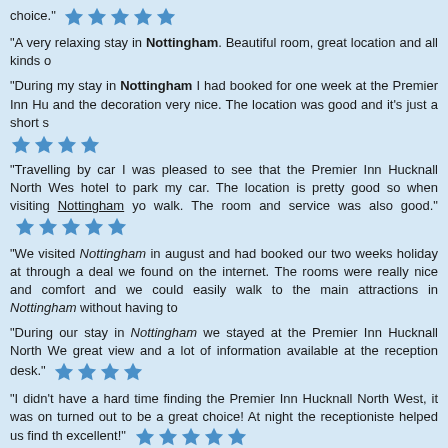choice." ★★★★★
"A very relaxing stay in Nottingham. Beautiful room, great location and all kinds o
"During my stay in Nottingham I had booked for one week at the Premier Inn Hu and the decoration very nice. The location was good and it's just a short s ★★★★
"Travelling by car I was pleased to see that the Premier Inn Hucknall North Wes hotel to park my car. The location is pretty good so when visiting Nottingham yo walk. The room and service was also good." ★★★★★
"We visited Nottingham in august and had booked our two weeks holiday at through a deal we found on the internet. The rooms were really nice and comfort and we could easily walk to the main attractions in Nottingham without having to
"During our stay in Nottingham we stayed at the Premier Inn Hucknall North We great view and a lot of information available at the reception desk." ★★★★
"I didn't have a hard time finding the Premier Inn Hucknall North West, it was on turned out to be a great choice! At night the receptioniste helped us find th excellent!" ★★★★★
"I went to Nottingham on a business trip where I stayed at the Premier Inn Huc in a nice room with good facilities." ★★★★